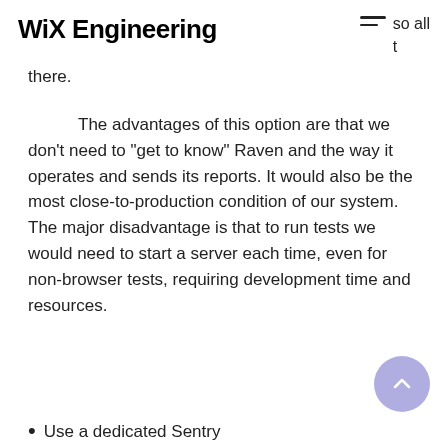WiX Engineering
there.
The advantages of this option are that we don't need to "get to know" Raven and the way it operates and sends its reports. It would also be the most close-to-production condition of our system. The major disadvantage is that to run tests we would need to start a server each time, even for non-browser tests, requiring development time and resources.
Use a dedicated Sentry